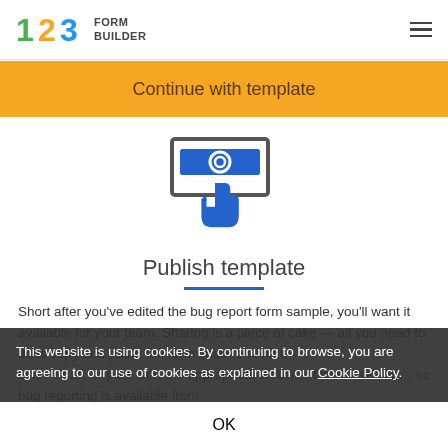[Figure (logo): 123FormBuilder logo with colorful 123 numerals and 'FORM BUILDER' text]
Continue with template
[Figure (illustration): Blue icon of a hand cursor clicking a button on a form/screen]
Publish template
Short after you've edited the bug report form sample, you'll want it available for your team. Sharing is a piece of cake — all you need to do is copy and paste the form code to send it in an email, or post it on the appropriate website. Of course, our… so bug reporting is available from
This website is using cookies. By continuing to browse, you are agreeing to our use of cookies as explained in our Cookie Policy.
OK